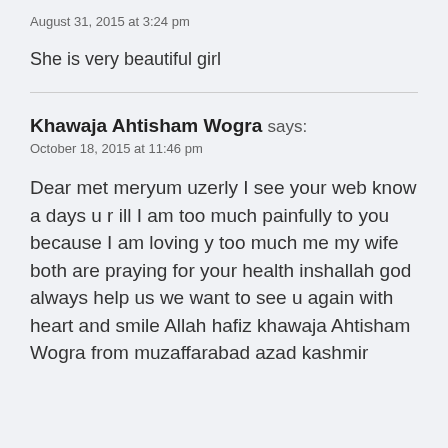August 31, 2015 at 3:24 pm
She is very beautiful girl
Khawaja Ahtisham Wogra says:
October 18, 2015 at 11:46 pm
Dear met meryum uzerly I see your web know a days u r ill I am too much painfully to you because I am loving y too much me my wife both are praying for your health inshallah god always help us we want to see u again with heart and smile Allah hafiz khawaja Ahtisham Wogra from muzaffarabad azad kashmir